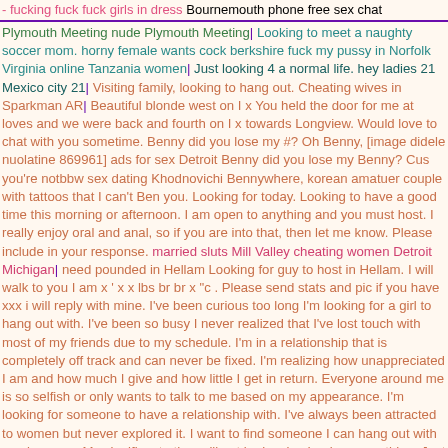- fucking fuck fuck girls in dress Bournemouth phone free sex chat
Plymouth Meeting nude Plymouth Meeting| Looking to meet a naughty soccer mom. horny female wants cock berkshire fuck my pussy in Norfolk Virginia online Tanzania women| Just looking 4 a normal life. hey ladies 21 Mexico city 21| Visiting family, looking to hang out. Cheating wives in Sparkman AR| Beautiful blonde west on I x You held the door for me at loves and we were back and fourth on I x towards Longview. Would love to chat with you sometime. Benny did you lose my #? Oh Benny, [image didele nuolatine 869961] ads for sex Detroit Benny did you lose my Benny? Cus you're notbbw sex dating Khodnovichi Bennywhere, korean amatuer couple with tattoos that I can't Ben you. Looking for today. Looking to have a good time this morning or afternoon. I am open to anything and you must host. I really enjoy oral and anal, so if you are into that, then let me know. Please include in your response. married sluts Mill Valley cheating women Detroit Michigan| need pounded in Hellam Looking for guy to host in Hellam. I will walk to you I am x ' x x lbs br br x "c . Please send stats and pic if you have xxx i will reply with mine. I've been curious too long I'm looking for a girl to hang out with. I've been so busy I never realized that I've lost touch with most of my friends due to my schedule. I'm in a relationship that is completely off track and can never be fixed. I'm realizing how unappreciated I am and how much I give and how little I get in return. Everyone around me is so selfish or only wants to talk to me based on my appearance. I'm looking for someone to have a relationship with. I've always been attracted to women but never explored it. I want to find someone I can hang out with maybe more. My significant other will not be involved or know anything. Just looking for something, do not just txt change...